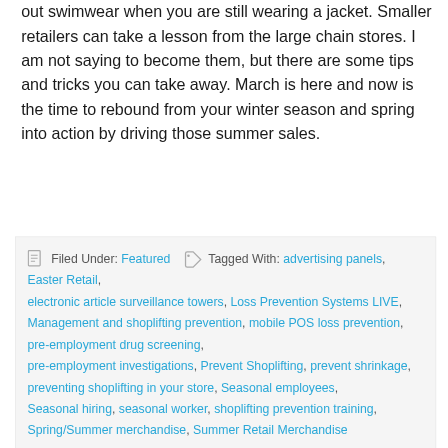out swimwear when you are still wearing a jacket. Smaller retailers can take a lesson from the large chain stores. I am not saying to become them, but there are some tips and tricks you can take away. March is here and now is the time to rebound from your winter season and spring into action by driving those summer sales.
Filed Under: Featured  Tagged With: advertising panels, Easter Retail, electronic article surveillance towers, Loss Prevention Systems LIVE, Management and shoplifting prevention, mobile POS loss prevention, pre-employment drug screening, pre-employment investigations, Prevent Shoplifting, prevent shrinkage, preventing shoplifting in your store, Seasonal employees, Seasonal hiring, seasonal worker, shoplifting prevention training, Spring/Summer merchandise, Summer Retail Merchandise
A Proper Reflection Of The Past Year Can Make The New Year Even Better
January 1, 2019 by Staff Editor  Leave a Comment
[Figure (photo): Partial thumbnail image showing a desk with paper and magnifying glass, orange background tones]
It is January